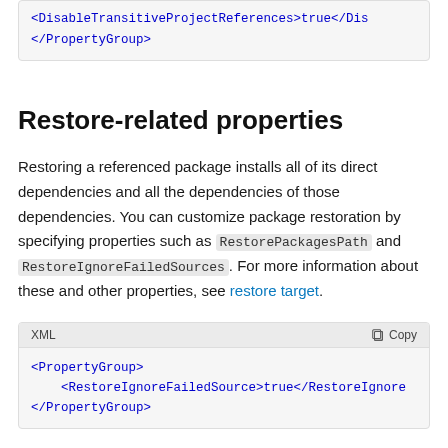<DisableTransitiveProjectReferences>true</Dis...
</PropertyGroup>
Restore-related properties
Restoring a referenced package installs all of its direct dependencies and all the dependencies of those dependencies. You can customize package restoration by specifying properties such as RestorePackagesPath and RestoreIgnoreFailedSources. For more information about these and other properties, see restore target.
<PropertyGroup>
    <RestoreIgnoreFailedSource>true</RestoreIgnore...
</PropertyGroup>